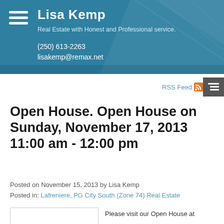Lisa Kemp
Real Estate with Honest and Professional service.
(250) 613-2263
lisakemp@remax.net
RSS Feed
Open House. Open House on Sunday, November 17, 2013 11:00 am - 12:00 pm
Posted on November 15, 2013 by Lisa Kemp
Posted in: Lafreniere, PG City South (Zone 74) Real Estate
Please visit our Open House at